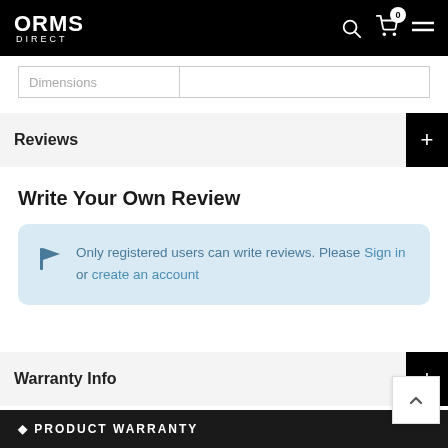ORMS DIRECT
| Dimensions |  |
| --- | --- |
|  |
Reviews
Write Your Own Review
Only registered users can write reviews. Please Sign in or create an account
Warranty Info
PRODUCT WARRANTY